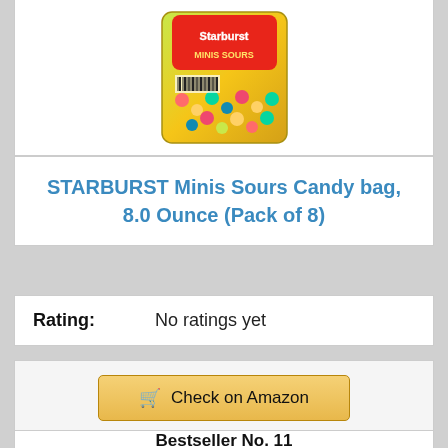[Figure (photo): Starburst Minis Sours Candy bag product photo, showing the colorful candy package with yellow-green background and small colorful candies]
STARBURST Minis Sours Candy bag, 8.0 Ounce (Pack of 8)
Rating: No ratings yet
Check on Amazon
Bestseller No. 11
[Figure (photo): Dark fantasy illustration showing a female warrior figure with mechanical/organic tentacle-like elements against a pink grid background]